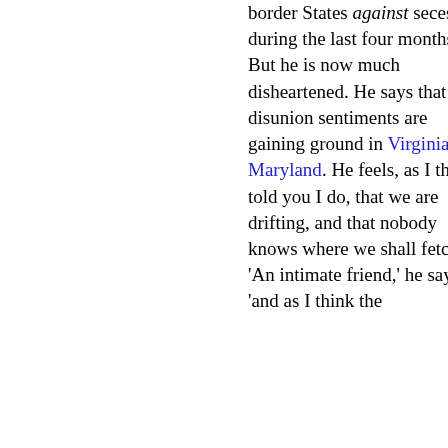border States against secession during the last four months. But he is now much disheartened. He says that disunion sentiments are gaining ground in Virginia and Maryland. He feels, as I think I told you I do, that we are drifting, and that nobody knows where we shall fetch up. 'An intimate friend,' he says, 'and as I think the